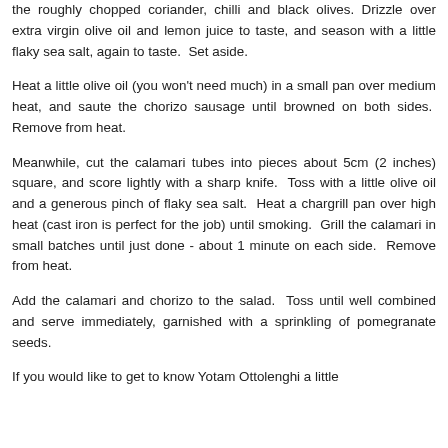the roughly chopped coriander, chilli and black olives. Drizzle over extra virgin olive oil and lemon juice to taste, and season with a little flaky sea salt, again to taste. Set aside.
Heat a little olive oil (you won't need much) in a small pan over medium heat, and saute the chorizo sausage until browned on both sides. Remove from heat.
Meanwhile, cut the calamari tubes into pieces about 5cm (2 inches) square, and score lightly with a sharp knife. Toss with a little olive oil and a generous pinch of flaky sea salt. Heat a chargrill pan over high heat (cast iron is perfect for the job) until smoking. Grill the calamari in small batches until just done - about 1 minute on each side. Remove from heat.
Add the calamari and chorizo to the salad. Toss until well combined and serve immediately, garnished with a sprinkling of pomegranate seeds.
If you would like to get to know Yotam Ottolenghi a little